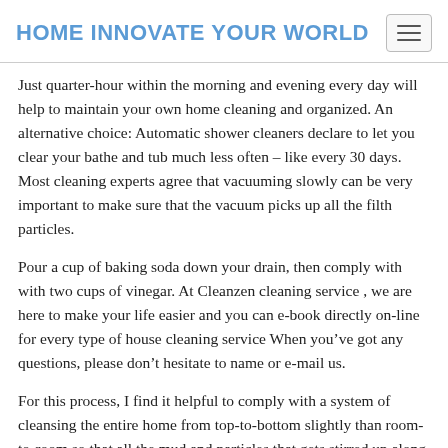HOME INNOVATE YOUR WORLD
Just quarter-hour within the morning and evening every day will help to maintain your own home cleaning and organized. An alternative choice: Automatic shower cleaners declare to let you clear your bathe and tub much less often – like every 30 days. Most cleaning experts agree that vacuuming slowly can be very important to make sure that the vacuum picks up all the filth particles.
Pour a cup of baking soda down your drain, then comply with with two cups of vinegar. At Cleanzen cleaning service , we are here to make your life easier and you can e-book directly on-line for every type of house cleaning service When you've got any questions, please don’t hesitate to name or e-mail us.
For this process, I find it helpful to comply with a system of cleansing the entire home from top-to-bottom slightly than room-to-room so that all the mud and particles that gets stirred up along the way is removed once and for all in one ultimate…